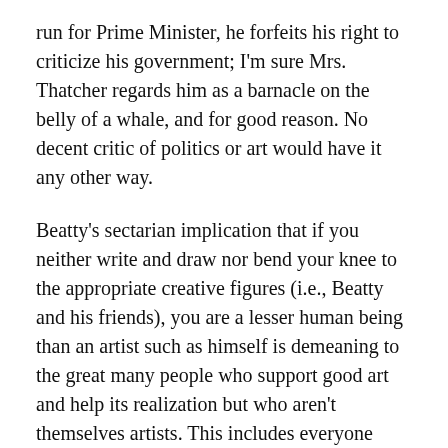run for Prime Minister, he forfeits his right to criticize his government; I'm sure Mrs. Thatcher regards him as a barnacle on the belly of a whale, and for good reason. No decent critic of politics or art would have it any other way.
Beatty's sectarian implication that if you neither write and draw nor bend your knee to the appropriate creative figures (i.e., Beatty and his friends), you are a lesser human being than an artist such as himself is demeaning to the great many people who support good art and help its realization but who aren't themselves artists. This includes everyone from conscientious publishers to museum directors to bookstore owners—people who may not create art but who have dedicated their lives to its dissemination and preservation. These are people who contribute far more to the health of good art